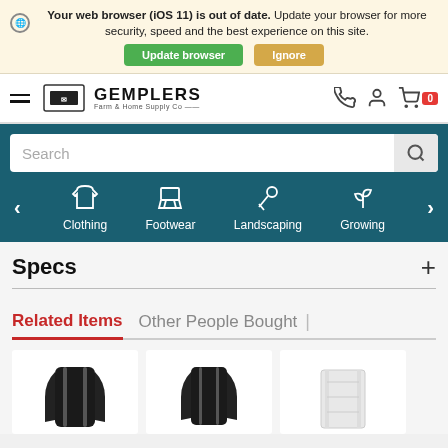Your web browser (iOS 11) is out of date. Update your browser for more security, speed and the best experience on this site.
[Figure (screenshot): Gemplers Farm & Home Supply Co website header with logo, hamburger menu, phone/account/cart icons]
[Figure (screenshot): Search bar and category navigation icons: Clothing, Footwear, Landscaping, Growing on teal background]
Specs
Related Items   Other People Bought
[Figure (photo): Three product thumbnail images showing jackets and a white product]